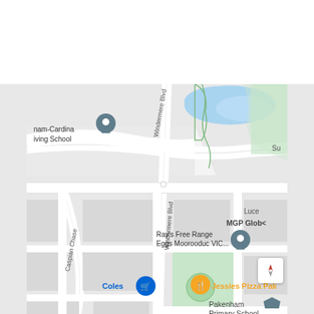[Figure (map): Google Maps screenshot showing a suburban street map of Pakenham, Victoria, Australia. Visible streets include Windermere Blvd and Caspian Chase. Landmarks shown include: nam-Cardina Driving School (with location pin), Ray's Free Range Eggs Moorooduc VIC... (with location pin), Coles (blue shopping cart icon), Jessies Pizza Pak (orange fork icon), Pakenham Primary School, Luce, MGP Globa. A blue water body and green parkland are visible in the upper area. A small green park with a circular feature is visible in the centre of the map.]